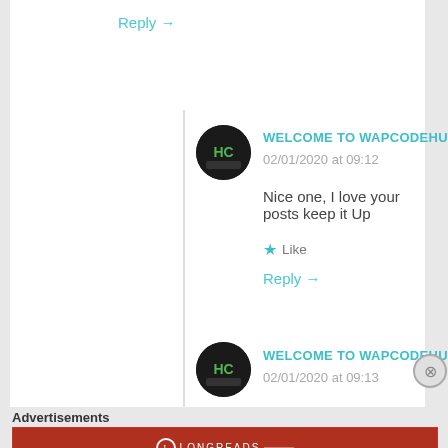Reply →
WELCOME TO WAPCODEHUB.COM
02/01/2020 at 09:12
Nice one, I love your posts keep it Up
Like
Reply →
WELCOME TO WAPCODEHUB.COM
02/01/2020 at 09:13
Advertisements
[Figure (other): Longreads advertisement banner: The best stories on the web — ours, and everyone else's.]